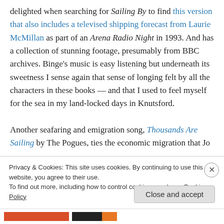delighted when searching for Sailing By to find this version that also includes a televised shipping forecast from Laurie McMillan as part of an Arena Radio Night in 1993. And has a collection of stunning footage, presumably from BBC archives. Binge's music is easy listening but underneath its sweetness I sense again that sense of longing felt by all the characters in these books — and that I used to feel myself for the sea in my land-locked days in Knutsford.

Another seafaring and emigration song, Thousands Are Sailing by The Pogues, ties the economic migration that Jo
Privacy & Cookies: This site uses cookies. By continuing to use this website, you agree to their use.
To find out more, including how to control cookies, see here: Cookie Policy
Close and accept